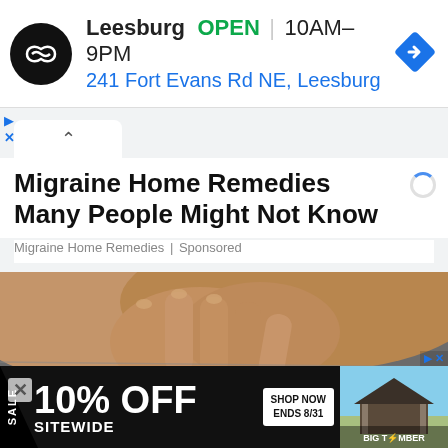[Figure (screenshot): Top ad banner: Carvana-style logo (black circle with infinity/link icon), text 'Leesburg OPEN | 10AM–9PM' and '241 Fort Evans Rd NE, Leesburg', blue navigation diamond arrow icon on right]
[Figure (screenshot): Browser chrome: light gray tab bar with white active tab showing chevron/caret up symbol, blue underline indicating active tab]
Migraine Home Remedies Many People Might Not Know
Migraine Home Remedies | Sponsored
[Figure (photo): Close-up photo of hands massaging the back of a person's head/scalp with gray hair]
[Figure (screenshot): Bottom advertisement banner: black background with 'SALE' text on left, '10% OFF SITEWIDE' in large white text, 'SHOP NOW ENDS 8/31' button, BIG TIMBER brand logo with gazebo image on right]